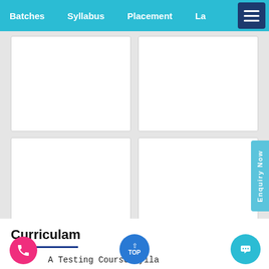Batches   Syllabus   Placement   La...
[Figure (screenshot): Four white image placeholder boxes arranged in a 2x2 grid on a light grey background]
Curriculam
A Testing Course Syllabus
Module 1: SOA Introduction